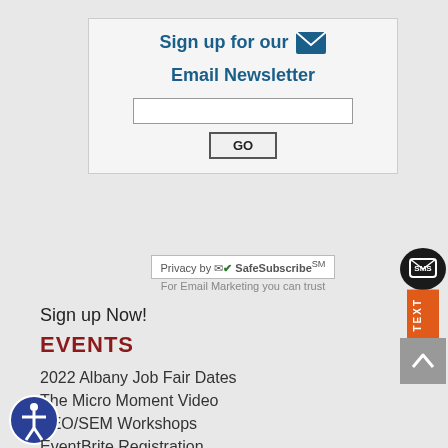Sign up for our Email Newsletter
Privacy by SafeSubscribe℠
For Email Marketing you can trust
Sign up Now!
EVENTS
2022 Albany Job Fair Dates
The Micro Moment Video
SEO/SEM Workshops
EventBrite Registration